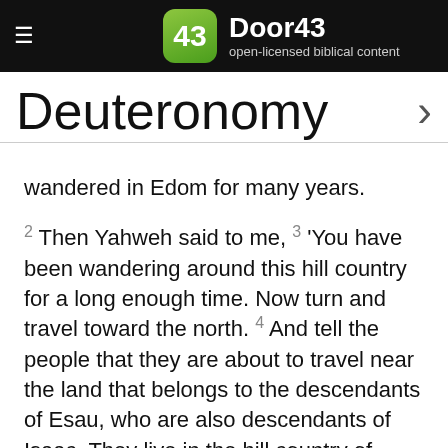Door43 open-licensed biblical content
Deuteronomy
wandered in Edom for many years.
2 Then Yahweh said to me, 3 'You have been wandering around this hill country for a long enough time. Now turn and travel toward the north. 4 And tell the people that they are about to travel near the land that belongs to the descendants of Esau, who are also descendants of Isaac. They live in the hill country of Edom. They will be afraid of you, 5 but do not start to fight against them...